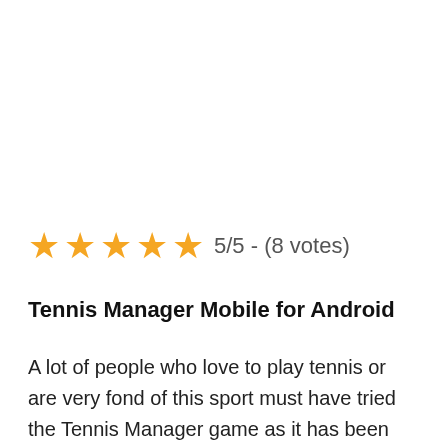5/5 - (8 votes)
Tennis Manager Mobile for Android
A lot of people who love to play tennis or are very fond of this sport must have tried the Tennis Manager game as it has been seen as one of the